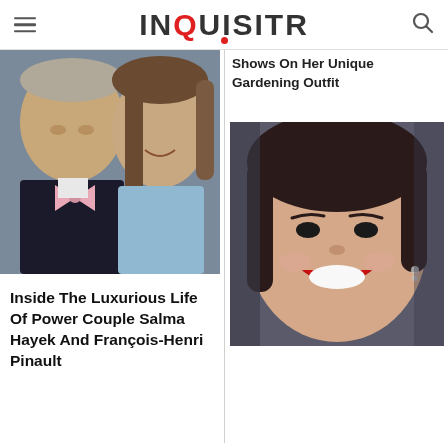INQUISITR
[Figure (photo): Couple at red carpet event, man in tuxedo with pink bow tie, woman with brown hair]
Inside The Luxurious Life Of Power Couple Salma Hayek And François-Henri Pinault
Shows On Her Unique Gardening Outfit
[Figure (photo): Young woman with dark hair, red lips, laughing, wearing earring]